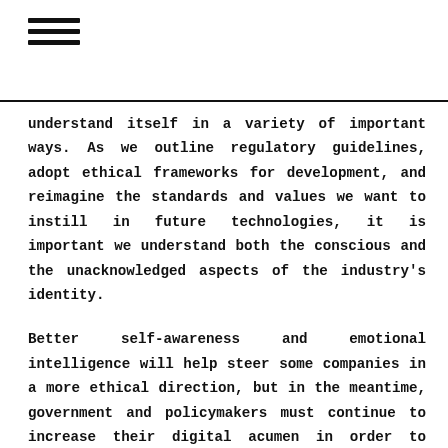≡
understand itself in a variety of important ways. As we outline regulatory guidelines, adopt ethical frameworks for development, and reimagine the standards and values we want to instill in future technologies, it is important we understand both the conscious and the unacknowledged aspects of the industry's identity.
Better self-awareness and emotional intelligence will help steer some companies in a more ethical direction, but in the meantime, government and policymakers must continue to increase their digital acumen in order to effectively govern,